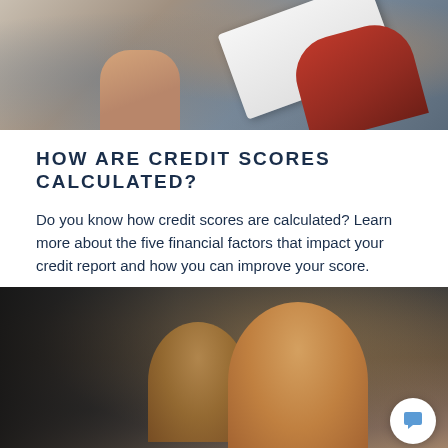[Figure (photo): Close-up photo of hands exchanging or reviewing a document/paper, with one person wearing a red sleeve, photographed from above against a light background.]
HOW ARE CREDIT SCORES CALCULATED?
Do you know how credit scores are calculated? Learn more about the five financial factors that impact your credit report and how you can improve your score.
[Figure (photo): Photo of an older couple inside a car, smiling, as someone hands them car keys, suggesting a car purchase or dealership scene.]